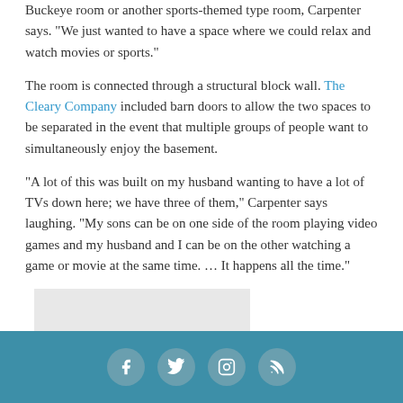Buckeye room or another sports-themed type room, Carpenter says. “We just wanted to have a space where we could relax and watch movies or sports.”
The room is connected through a structural block wall. The Cleary Company included barn doors to allow the two spaces to be separated in the event that multiple groups of people want to simultaneously enjoy the basement.
“A lot of this was built on my husband wanting to have a lot of TVs down here; we have three of them,” Carpenter says laughing. “My sons can be on one side of the room playing video games and my husband and I can be on the other watching a game or movie at the same time. … It happens all the time.”
[Figure (photo): Gray placeholder image block]
Social media icons: Facebook, Twitter, Instagram, RSS